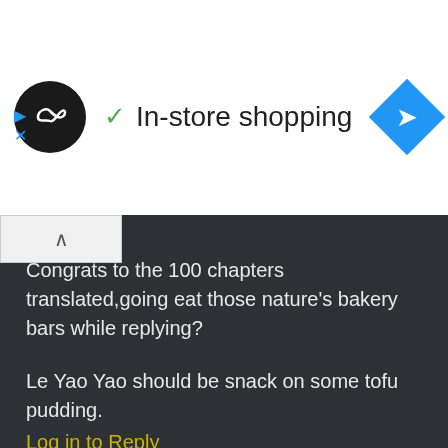[Figure (screenshot): White ad bar with circular logo (dark circle with infinity-like symbol), checkmark icon, 'In-store shopping' text, and blue diamond arrow icon on right. Small play and X icons below.]
Congrats to the 100 chapters translated,going eat those nature's bakery bars while replying?
Le Yao Yao should be snack on some tofu pudding.
Log in to Reply
gchan7127
October 21, 2017 at 4:07 pm
Thank you